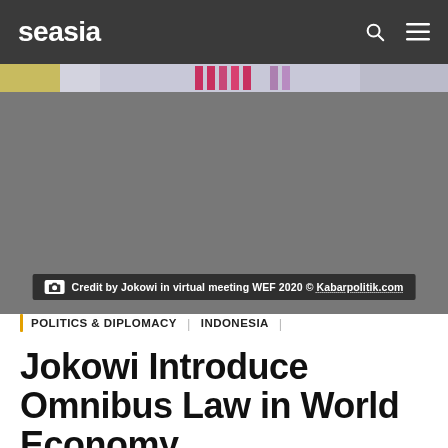seasia
[Figure (photo): Hero image showing a virtual meeting screen, blurred/grayed. Top strip shows partial flags or banners in colors including yellow, red/magenta, and purple.]
Credit by Jokowi in virtual meeting WEF 2020 © Kabarpolitik.com
POLITICS & DIPLOMACY | INDONESIA |
Jokowi Introduce Omnibus Law in World Economy